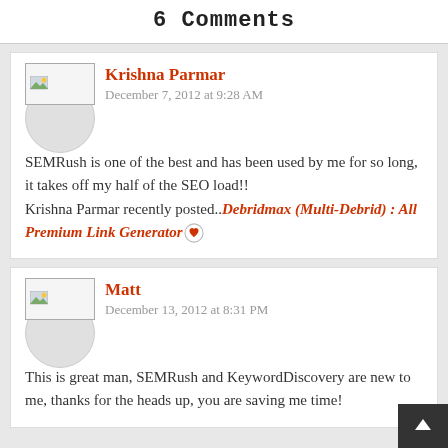6 Comments
Krishna Parmar
December 7, 2012 at 9:28 AM
SEMRush is one of the best and has been used by me for so long, it takes off my half of the SEO load!!
Krishna Parmar recently posted..Debridmax (Multi-Debrid) : All Premium Link Generator
Matt
December 13, 2012 at 8:31 PM
This is great man, SEMRush and KeywordDiscovery are new to me, thanks for the heads up, you are saving me time!